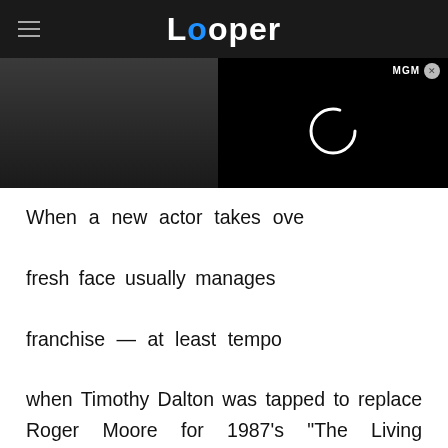Looper
[Figure (screenshot): Dark image strip at top showing partial photo of people, with a black video player overlay on the right showing a loading spinner and MGM label]
When a new actor takes over the role of James Bond, the fresh face usually manages to breathe new life into the franchise — at least temporarily. This was certainly true when Timothy Dalton was tapped to replace Roger Moore for 1987's "The Living Daylights," as he brought a darker edge to the character. Although he was definitely less campy than his predecessor, Dalton has also been criticized for being a little too uptight. Part of what helps keep James Bond films
[Figure (screenshot): Advertisement banner at the bottom showing a doctor image on the left and text 'What is Clinically Isolated Syndrome? Key' with n/a subtitle and a purple arrow button on the right]